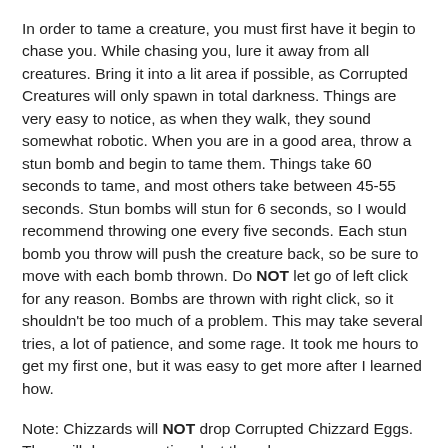In order to tame a creature, you must first have it begin to chase you. While chasing you, lure it away from all creatures. Bring it into a lit area if possible, as Corrupted Creatures will only spawn in total darkness. Things are very easy to notice, as when they walk, they sound somewhat robotic. When you are in a good area, throw a stun bomb and begin to tame them. Things take 60 seconds to tame, and most others take between 45-55 seconds. Stun bombs will stun for 6 seconds, so I would recommend throwing one every five seconds. Each stun bomb you throw will push the creature back, so be sure to move with each bomb thrown. Do NOT let go of left click for any reason. Bombs are thrown with right click, so it shouldn't be too much of a problem. This may take several tries, a lot of patience, and some rage. It took me hours to get my first one, but it was easy to get more after I learned how.
Note: Chizzards will NOT drop Corrupted Chizzard Eggs. They will drop corruption dust though.
What Do I Get From Taming?